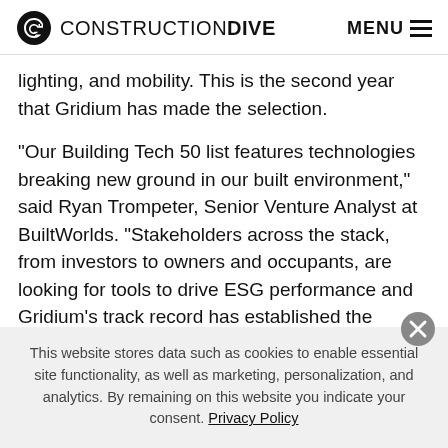CONSTRUCTION DIVE   MENU
lighting, and mobility. This is the second year that Gridium has made the selection.
"Our Building Tech 50 list features technologies breaking new ground in our built environment," said Ryan Trompeter, Senior Venture Analyst at BuiltWorlds. "Stakeholders across the stack, from investors to owners and occupants, are looking for tools to drive ESG performance and Gridium's track record has established the company as one of the
This website stores data such as cookies to enable essential site functionality, as well as marketing, personalization, and analytics. By remaining on this website you indicate your consent. Privacy Policy